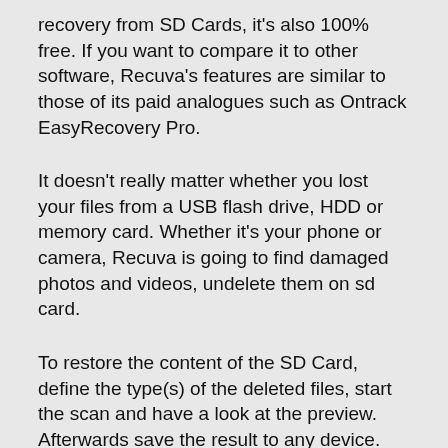recovery from SD Cards, it's also 100% free. If you want to compare it to other software, Recuva's features are similar to those of its paid analogues such as Ontrack EasyRecovery Pro.
It doesn't really matter whether you lost your files from a USB flash drive, HDD or memory card. Whether it's your phone or camera, Recuva is going to find damaged photos and videos, undelete them on sd card.
To restore the content of the SD Card, define the type(s) of the deleted files, start the scan and have a look at the preview. Afterwards save the result to any device.
The price of Recuva Pro is $19.95. Recuva Free doesn't include user support. Nevertheless, it